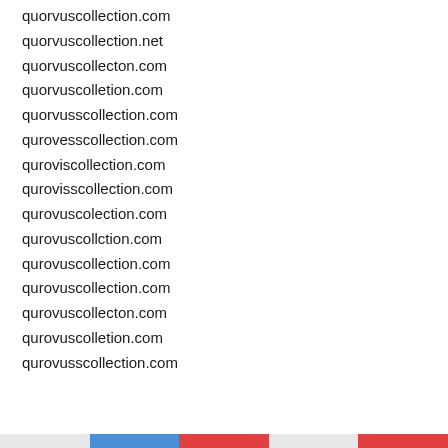quorvuscollection.com
quorvuscollection.net
quorvuscollecton.com
quorvuscolletion.com
quorvusscollection.com
qurovesscollection.com
quroviscollection.com
qurovisscollection.com
qurovuscolection.com
qurovuscollction.com
qurovuscollection.com
qurovuscollection.com
qurovuscollecton.com
qurovuscolletion.com
qurovusscollection.com